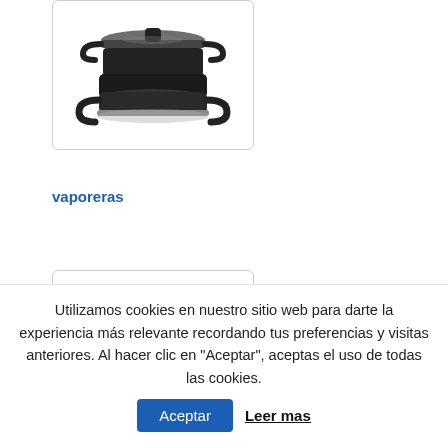[Figure (photo): Black steamer/vaporera pot with glass lid and two handles, shown on white background]
vaporeras
[Figure (photo): Stainless steel pressure cooker with black handle and pressure valve, shown on white background]
Utilizamos cookies en nuestro sitio web para darte la experiencia más relevante recordando tus preferencias y visitas anteriores. Al hacer clic en "Aceptar", aceptas el uso de todas las cookies.